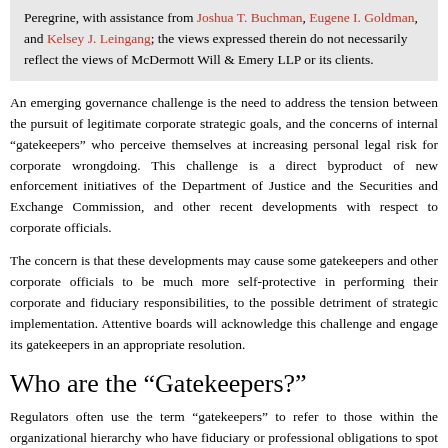Peregrine, with assistance from Joshua T. Buchman, Eugene I. Goldman, and Kelsey J. Leingang; the views expressed therein do not necessarily reflect the views of McDermott Will & Emery LLP or its clients.
An emerging governance challenge is the need to address the tension between the pursuit of legitimate corporate strategic goals, and the concerns of internal “gatekeepers” who perceive themselves at increasing personal legal risk for corporate wrongdoing. This challenge is a direct byproduct of new enforcement initiatives of the Department of Justice and the Securities and Exchange Commission, and other recent developments with respect to corporate officials.
The concern is that these developments may cause some gatekeepers and other corporate officials to be much more self-protective in performing their corporate and fiduciary responsibilities, to the possible detriment of strategic implementation. Attentive boards will acknowledge this challenge and engage its gatekeepers in an appropriate resolution.
Who are the “Gatekeepers?”
Regulators often use the term “gatekeepers” to refer to those within the organizational hierarchy who have fiduciary or professional obligations to spot and prevent potential misconduct, and respond to